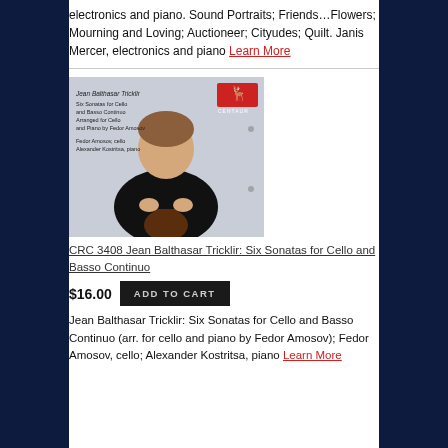electronics and piano. Sound Portraits; Friends…Flowers; Mourning and Loving; Auctioneer; Cityudes; Quilt. Janis Mercer, electronics and piano Learn More
[Figure (photo): Album cover for Jean Balthasar Tricklir Six Sonatas for Cello and Basso Continuo, showing a young man in a black shirt holding a cello scroll, with the Centaur Records logo in top right]
CRC 3408 Jean Balthasar Tricklir: Six Sonatas for Cello and Basso Continuo
$16.00
ADD TO CART
Jean Balthasar Tricklir: Six Sonatas for Cello and Basso Continuo (arr. for cello and piano by Fedor Amosov); Fedor Amosov, cello; Alexander Kostritsa, piano Learn More